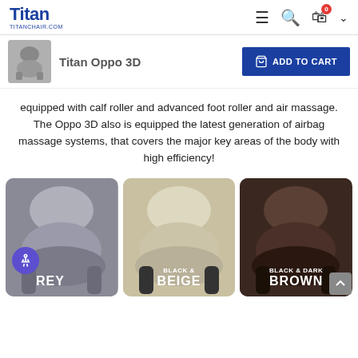Titan TITANCHAIR.COM
Titan Oppo 3D
equipped with calf roller and advanced foot roller and air massage. The Oppo 3D also is equipped the latest generation of airbag massage systems, that covers the major key areas of the body with high efficiency!
[Figure (photo): Three color variants of the Titan Oppo 3D massage chair: Grey, Black & Beige, Black & Dark Brown]